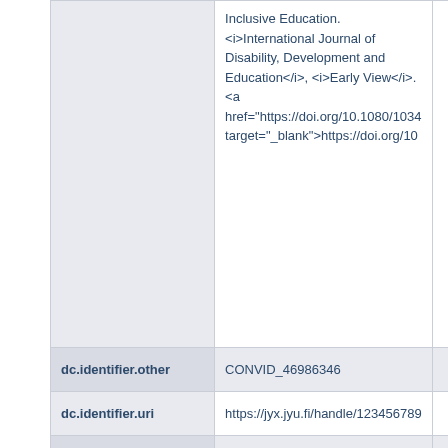| Field | Value |  |
| --- | --- | --- |
|  | Inclusive Education. <i>International Journal of Disability, Development and Education</i>, <i>Early View</i>. <a href="https://doi.org/10.1080/1034..." target="_blank">https://doi.org/10...</a> |  |
| dc.identifier.other | CONVID_46986346 |  |
| dc.identifier.uri | https://jyx.jyu.fi/handle/123456789... |  |
| dc.description.abstract | Inclusive | en |